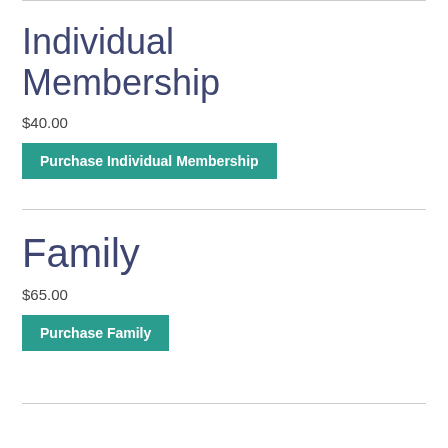Individual Membership
$40.00
Purchase Individual Membership
Family
$65.00
Purchase Family